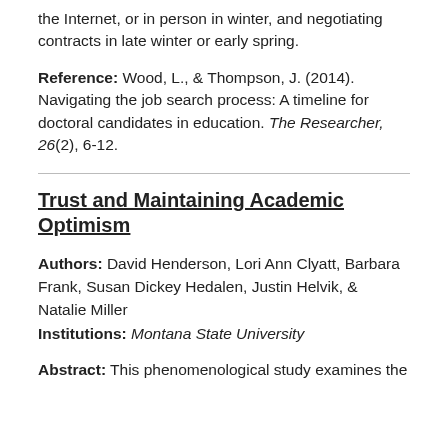the Internet, or in person in winter, and negotiating contracts in late winter or early spring.
Reference: Wood, L., & Thompson, J. (2014). Navigating the job search process: A timeline for doctoral candidates in education. The Researcher, 26(2), 6-12.
Trust and Maintaining Academic Optimism
Authors: David Henderson, Lori Ann Clyatt, Barbara Frank, Susan Dickey Hedalen, Justin Helvik, & Natalie Miller
Institutions: Montana State University
Abstract: This phenomenological study examines the